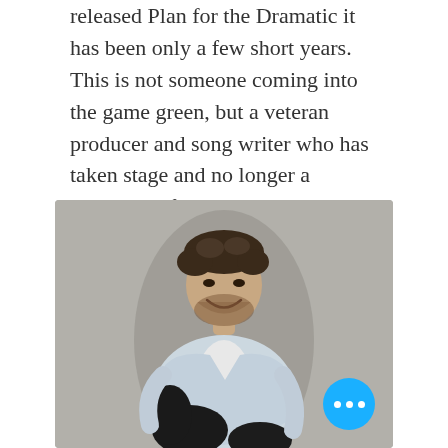released Plan for the Dramatic it has been only a few short years. This is not someone coming into the game green, but a veteran producer and song writer who has taken stage and no longer a Geppetto. If the beginning is this beautiful, then it's going to be a magical ride.
[Figure (photo): A man with curly hair and a beard, wearing a light blue denim jacket over a white shirt, sitting and smiling, photographed against a grey background. A blue circular button with three white dots appears in the lower right corner of the image.]